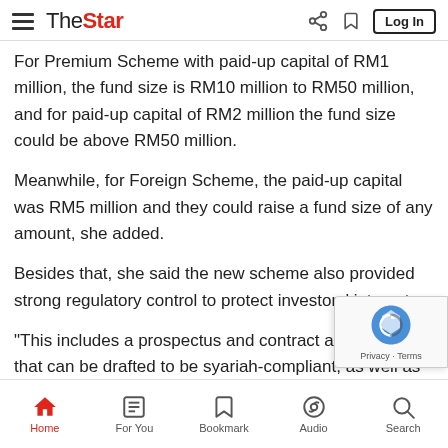The Star — navigation header with hamburger menu, logo, share, bookmark, and Log In button
For Premium Scheme with paid-up capital of RM1 million, the fund size is RM10 million to RM50 million, and for paid-up capital of RM2 million the fund size could be above RM50 million.
Meanwhile, for Foreign Scheme, the paid-up capital was RM5 million and they could raise a fund size of any amount, she added.
Besides that, she said the new scheme also provided strong regulatory control to protect investors' interest.
"This includes a prospectus and contract agreement that can be drafted to be syariah-compliant, as well as legal rights for company registrars to wind up the companies and ord[er them] to pay compensation," said Zahrah.
With the Act in place, she said businesses could also leverage
Home | For You | Bookmark | Audio | Search